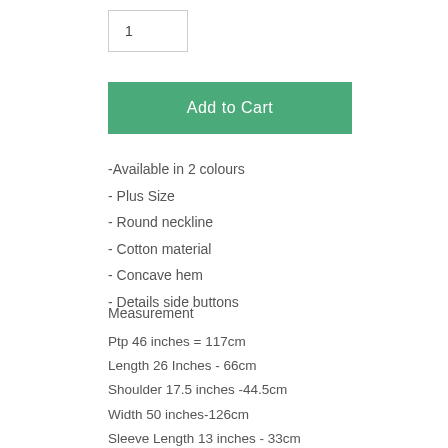1
Add to Cart
-Available in 2 colours
- Plus Size
- Round neckline
- Cotton material
- Concave hem
- Details side buttons
Measurement
Ptp 46 inches = 117cm
Length 26 Inches - 66cm
Shoulder 17.5 inches -44.5cm
Width 50 inches-126cm
Sleeve Length 13 inches - 33cm
Armhole 10.5 inches - 27cm